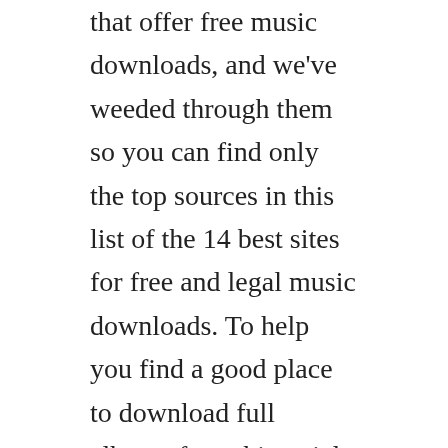that offer free music downloads, and we've weeded through them so you can find only the top sources in this list of the 14 best sites for free and legal music downloads. To help you find a good place to download full albums free, this article provides the detailed instructions of the top 7 websites that are useful and wellreceived. You can use our tracks as a background music for video and media projects.
About frostwire shop frostwire gear get frostwire stickers legal contact us download frostwire for your computer and phone.